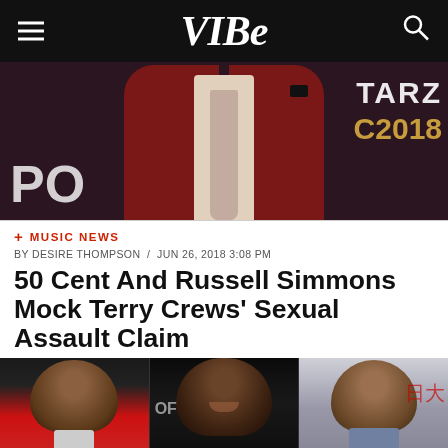VIBE
[Figure (photo): Man in dark red/maroon suit with light tie at a STARZ Power 2018 event backdrop]
+ MUSIC NEWS
BY DESIRE THOMPSON / JUN 26, 2018 3:08 PM
50 Cent And Russell Simmons Mock Terry Crews' Sexual Assault Claim
[Figure (photo): Composite photo of three men: 50 Cent on left in red jacket, Terry Crews in center in black turtleneck smiling, Russell Simmons on right in grey suit]